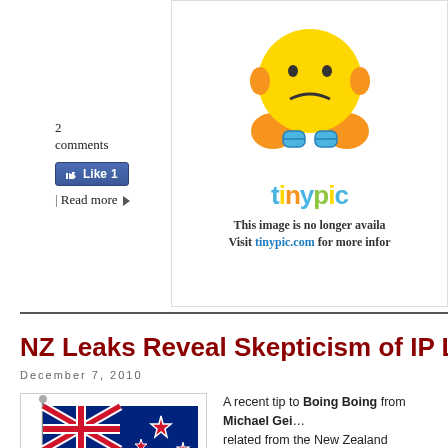2 comments
[Figure (illustration): Facebook Like button showing 'Like 1']
| Read more ▶
[Figure (illustration): TinyPic placeholder image with sad smiley face and text: This image is no longer available. Visit tinypic.com for more information.]
NZ Leaks Reveal Skepticism of IP Law…
December 7, 2010
[Figure (illustration): New Zealand flag on a flagpole illustration]
A recent tip to Boing Boing from Michael Geist related from the New Zealand government about international copyright laws being pushed by a… leaked documents reveal the NZ government's to change the level of protection the country a… measures" (TPMs, DRM, or digital locks).